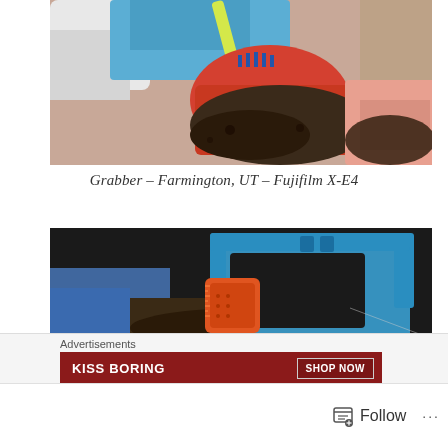[Figure (photo): Close-up photo of a red plastic container cap/dispenser with blue brush attachment, covered in dirt and mud, with other colorful objects visible in background]
Grabber – Farmington, UT – Fujifilm X-E4
[Figure (photo): Close-up photo of a blue plastic tool/grabber frame with orange handle piece, against a dark background with dirt/soil visible]
Advertisements
[Figure (screenshot): Advertisement banner with dark red background showing 'KISS BORING' text and 'SHOP NOW' button]
Follow